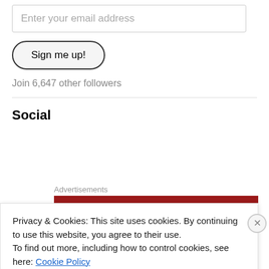Enter your email address
Sign me up!
Join 6,647 other followers
Social
Advertisements
Privacy & Cookies: This site uses cookies. By continuing to use this website, you agree to their use.
To find out more, including how to control cookies, see here: Cookie Policy
Close and accept